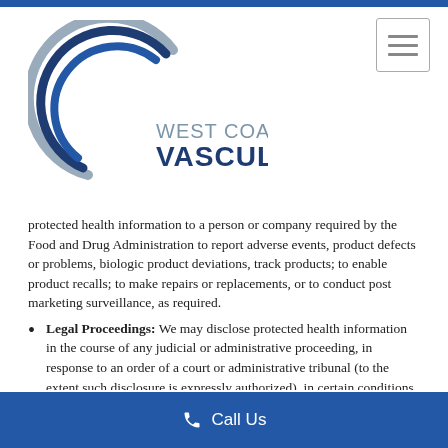[Figure (logo): West Coast Vascular logo with circular swoosh design in navy blue and grey, with text 'WEST COAST VASCULAR']
protected health information to a person or company required by the Food and Drug Administration to report adverse events, product defects or problems, biologic product deviations, track products; to enable product recalls; to make repairs or replacements, or to conduct post marketing surveillance, as required.
Legal Proceedings: We may disclose protected health information in the course of any judicial or administrative proceeding, in response to an order of a court or administrative tribunal (to the extent such disclosure is expressly authorized), in certain conditions in response to a subpoena, discovery request or other lawful process.
Law Enforcement: We may also disclose protected health
Call Us